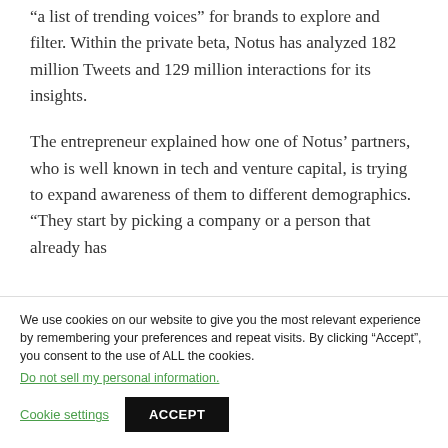“a list of trending voices” for brands to explore and filter. Within the private beta, Notus has analyzed 182 million Tweets and 129 million interactions for its insights.
The entrepreneur explained how one of Notus’ partners, who is well known in tech and venture capital, is trying to expand awareness of them to different demographics. “They start by picking a company or a person that already has
We use cookies on our website to give you the most relevant experience by remembering your preferences and repeat visits. By clicking “Accept”, you consent to the use of ALL the cookies.
Do not sell my personal information.
Cookie settings
ACCEPT